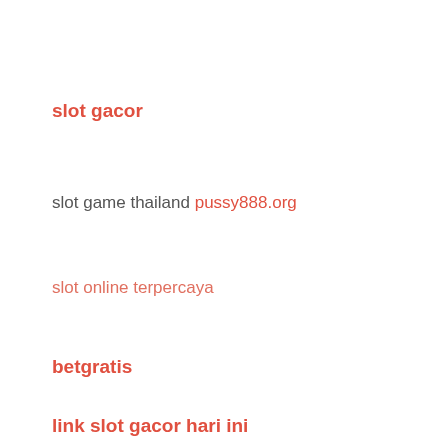slot gacor
slot game thailand pussy888.org
slot online terpercaya
betgratis
link slot gacor hari ini
slot joker123
slot online terpercaya